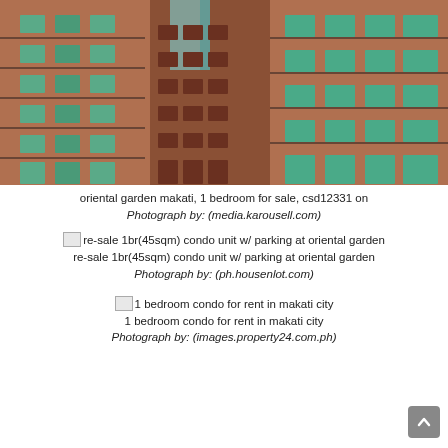[Figure (photo): Upward-angled photograph of a tall residential condominium building with terracotta/brick facade, balconies, and green-tinted windows — oriental garden makati]
oriental garden makati, 1 bedroom for sale, csd12331 on
Photograph by: (media.karousell.com)
[Figure (photo): Broken image placeholder for re-sale 1br(45sqm) condo unit w/ parking at oriental garden]
re-sale 1br(45sqm) condo unit w/ parking at oriental garden
Photograph by: (ph.housenlot.com)
[Figure (photo): Broken image placeholder for 1 bedroom condo for rent in makati city]
1 bedroom condo for rent in makati city
Photograph by: (images.property24.com.ph)